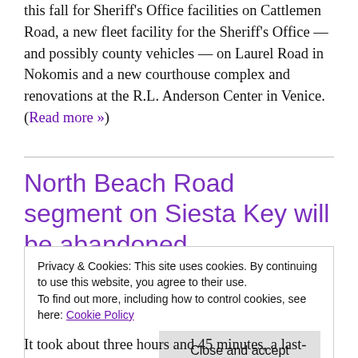this fall for Sheriff's Office facilities on Cattlemen Road, a new fleet facility for the Sheriff's Office — and possibly county vehicles — on Laurel Road in Nokomis and a new courthouse complex and renovations at the R.L. Anderson Center in Venice. (Read more »)
North Beach Road segment on Siesta Key will be abandoned,
Privacy & Cookies: This site uses cookies. By continuing to use this website, you agree to their use.
To find out more, including how to control cookies, see here: Cookie Policy
It took about three hours and 45 minutes, a last-